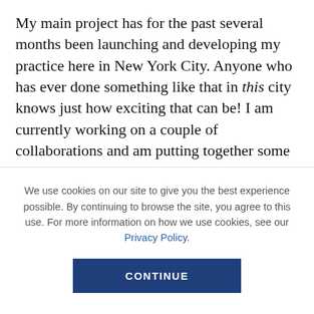My main project has for the past several months been launching and developing my practice here in New York City. Anyone who has ever done something like that in this city knows just how exciting that can be! I am currently working on a couple of collaborations and am putting together some new material for my teacher trainings and parent workshops. By far the most exciting project I worked on so far this year was my talk at TEDxPickeringStreet in Singapore on the topic of
We use cookies on our site to give you the best experience possible. By continuing to browse the site, you agree to this use. For more information on how we use cookies, see our Privacy Policy.
CONTINUE